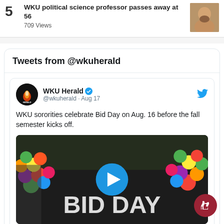5 WKU political science professor passes away at 56 • 709 Views
Tweets from @wkuherald
WKU Herald @wkuherald · Aug 17 — WKU sororities celebrate Bid Day on Aug. 16 before the fall semester kicks off.
[Figure (screenshot): Video thumbnail showing a Bid Day event with colorful balloons arranged around large letters spelling BID DAY, with a blue play button overlay in the center.]